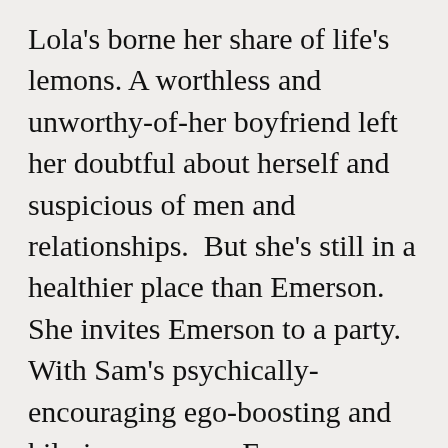Lola's borne her share of life's lemons. A worthless and unworthy-of-her boyfriend left her doubtful about herself and suspicious of men and relationships.  But she's still in a healthier place than Emerson.  She invites Emerson to a party.  With Sam's psychically-encouraging ego-boosting and hilarious powers, Emerson makes it to the party, has a great time, and begins The Wooing.  The wooing is lovely, romantic, tender, thoughtful, gentle.  Lola is a violinist.  When Emerson hears her play, he resolves to make her a violin